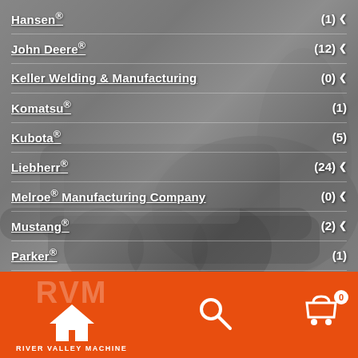Hansen® (1)
John Deere® (12)
Keller Welding & Manufacturing (0)
Komatsu® (1)
Kubota® (5)
Liebherr® (24)
Melroe® Manufacturing Company (0)
Mustang® (2)
Parker® (1)
Perfecting® (1)
Safeway® Hydraulics (1)
[Figure (logo): River Valley Machine (RVM) logo in white with orange arrow/house icon, text RIVER VALLEY MACHINE below]
[Figure (illustration): Search icon (magnifying glass) in white on orange bar]
[Figure (illustration): Shopping cart icon in white with badge showing 0 on orange bar]